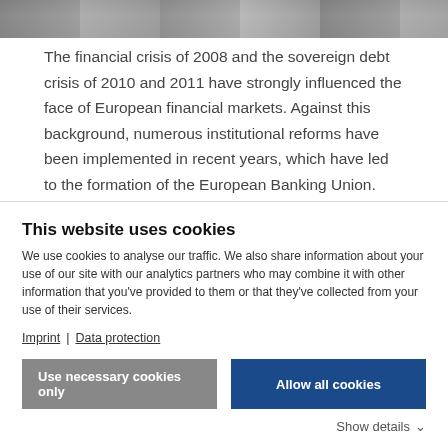[Figure (photo): Partial image strip at top of page, appears to be a photograph cropped]
The financial crisis of 2008 and the sovereign debt crisis of 2010 and 2011 have strongly influenced the face of European financial markets. Against this background, numerous institutional reforms have been implemented in recent years, which have led to the formation of the European Banking Union. The sixth Frankfurt Conference on Financial Market Policy of the Research Center SAFE focused on a review of the reforms implemented so far in
This website uses cookies
We use cookies to analyse our traffic. We also share information about your use of our site with our analytics partners who may combine it with other information that you've provided to them or that they've collected from your use of their services.
Imprint | Data protection
Use necessary cookies only
Allow all cookies
Show details